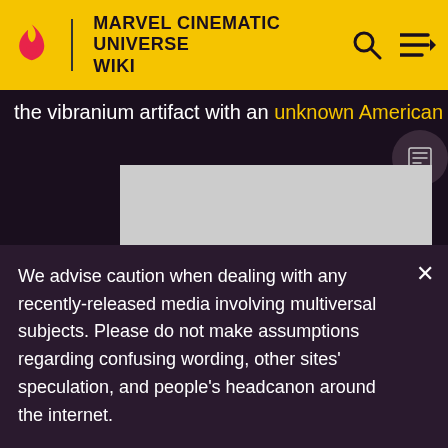MARVEL CINEMATIC UNIVERSE WIKI
the vibranium artifact with an unknown American buyer.[1]
[Figure (photo): Gray image placeholder rectangle]
We advise caution when dealing with any recently-released media involving multiversal subjects. Please do not make assumptions regarding confusing wording, other sites' speculation, and people's headcanon around the internet.